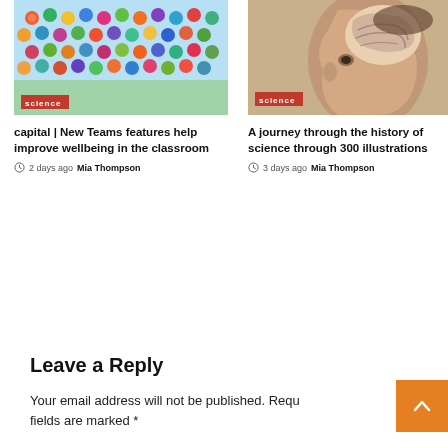[Figure (photo): Colorful cartoon emoji/blob characters arranged in a grid on a light blue background with a science badge overlay]
[Figure (photo): Vintage anatomical illustration of a human head in profile with brain exposed, on a warm beige/brown background with a science badge overlay]
capital | New Teams features help improve wellbeing in the classroom
2 days ago  Mia Thompson
A journey through the history of science through 300 illustrations
3 days ago  Mia Thompson
Leave a Reply
Your email address will not be published. Required fields are marked *